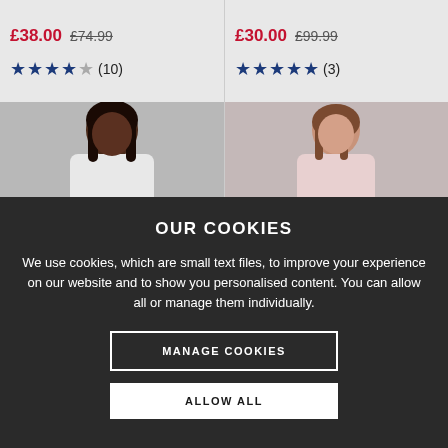[Figure (screenshot): E-commerce product listing showing two hooded sweatshirts with prices and star ratings. Left product: £38.00 (was £74.99), 3.5 stars, 10 reviews. Right product: £30.00 (was £99.99), 4.5 stars, 3 reviews.]
£38.00 £74.99 ★★★★☆ (10)
£30.00 £99.99 ★★★★★ (3)
OUR COOKIES
We use cookies, which are small text files, to improve your experience on our website and to show you personalised content. You can allow all or manage them individually.
MANAGE COOKIES
ALLOW ALL